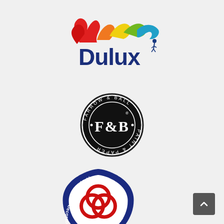[Figure (logo): Dulux paint brand logo with colorful swoosh and paint splash in red, orange, yellow, green, blue colors above the bold navy blue 'Dulux' text with a small jumping figure silhouette]
[Figure (logo): Farrow & Ball Paint & Paper circular badge logo with black background circle, white serif 'F&B' initials, and circular text reading 'FARROW & BALL · PAINT & PAPER']
[Figure (logo): Painting and Decorating Association shield-shaped logo with dark navy blue border, white center, red interlocking circles/rings emblem, and curved text reading 'Painting Decorating Association']
[Figure (other): Dark grey scroll-to-top button with upward chevron arrow in bottom right corner]